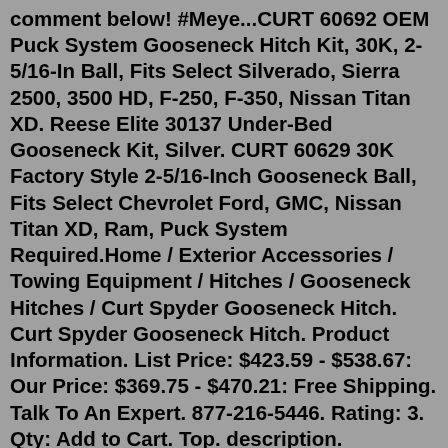comment below! #Meye...CURT 60692 OEM Puck System Gooseneck Hitch Kit, 30K, 2-5/16-In Ball, Fits Select Silverado, Sierra 2500, 3500 HD, F-250, F-350, Nissan Titan XD. Reese Elite 30137 Under-Bed Gooseneck Kit, Silver. CURT 60629 30K Factory Style 2-5/16-Inch Gooseneck Ball, Fits Select Chevrolet Ford, GMC, Nissan Titan XD, Ram, Puck System Required.Home / Exterior Accessories / Towing Equipment / Hitches / Gooseneck Hitches / Curt Spyder Gooseneck Hitch. Curt Spyder Gooseneck Hitch. Product Information. List Price: $423.59 - $538.67: Our Price: $369.75 - $470.21: Free Shipping. Talk To An Expert. 877-216-5446. Rating: 3. Qty: Add to Cart. Top. description. install.CURT has developed one of the simplest and easiest Gooseneck Kits to install. Check it out! Don't forget to Like, Subscribe, and leave a comment below! #Meye...7500 lbs TW. 30000 lbs GTW. Removable Ball - Stores in Truck. Wheel Well Release. 2-5/16 Hitch Ball. CURT. Get a little extra security when you are towing with Curt's double lock, gooseneck hitch. Chrome plated